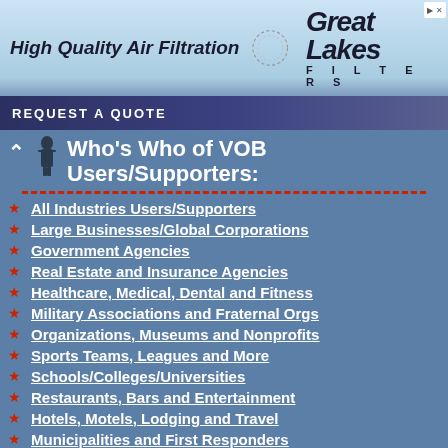[Figure (other): Advertisement banner for Great Lakes Filters - High Quality Air Filtration with REQUEST A QUOTE button]
Who's Who of VOB Users/Supporters:
All Industries Users/Supporters
Large Businesses/Global Corporations
Government Agencies
Real Estate and Insurance Agencies
Healthcare, Medical, Dental and Fitness
Military Associations and Fraternal Orgs
Organizations, Museums and Nonprofits
Sports Teams, Leagues and More
Schools/Colleges/Universities
Restaurants, Bars and Entertainment
Hotels, Motels, Lodging and Travel
Municipalities and First Responders
Banks and Financial Services
Trade Shows and Event Organizers